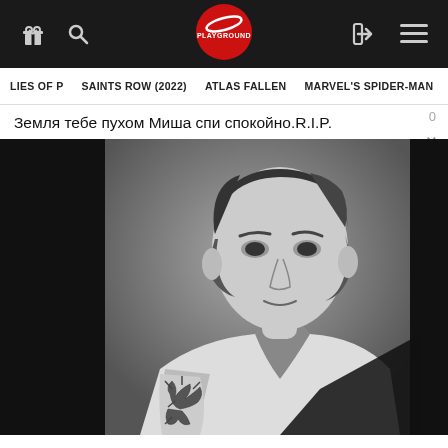Playground — navigation bar with gift, search, logo, login, menu icons
LIES OF P   SAINTS ROW (2022)   ATLAS FALLEN   MARVEL'S SPIDER-MAN
0
Земля тебе пухом Миша спи спокойно.R.I.P.
[Figure (photo): Black and white photograph of a young man with dark hair, wearing an open white shirt, showing a tattoo on his forearm, looking directly at camera]